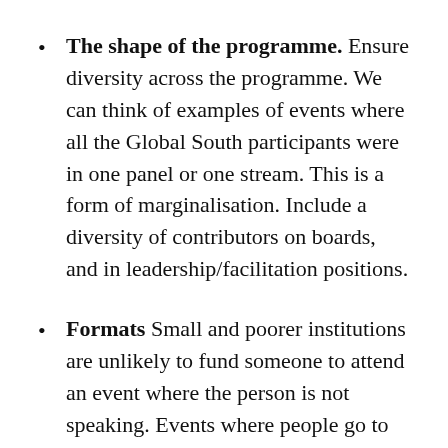The shape of the programme. Ensure diversity across the programme. We can think of examples of events where all the Global South participants were in one panel or one stream. This is a form of marginalisation. Include a diversity of contributors on boards, and in leadership/facilitation positions.
Formats Small and poorer institutions are unlikely to fund someone to attend an event where the person is not speaking. Events where people go to learn/participate, or Unconference type events, are often unfundable internally — so funding needs to